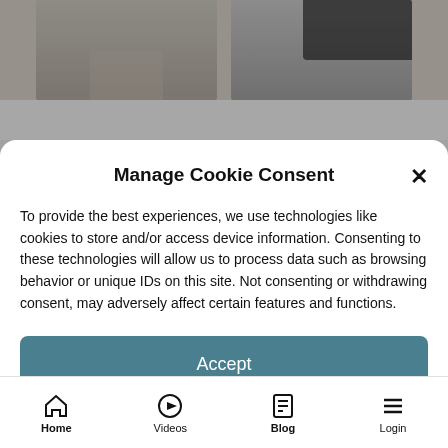[Figure (screenshot): Background webpage showing two photo thumbnails side by side]
Manage Cookie Consent
To provide the best experiences, we use technologies like cookies to store and/or access device information. Consenting to these technologies will allow us to process data such as browsing behavior or unique IDs on this site. Not consenting or withdrawing consent, may adversely affect certain features and functions.
Accept
Deny
View preferences
Home  Videos  Blog  Login